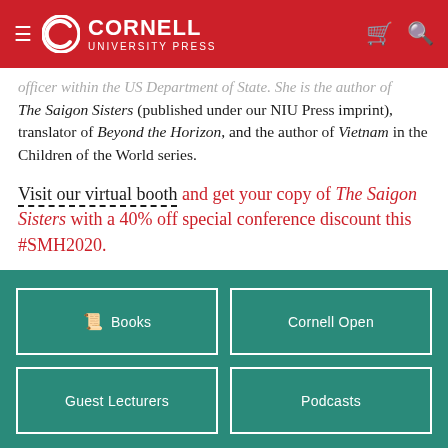Cornell University Press
officer within the US Department of State. She is the author of The Saigon Sisters (published under our NIU Press imprint), translator of Beyond the Horizon, and the author of Vietnam in the Children of the World series.
Visit our virtual booth and get your copy of The Saigon Sisters with a 40% off special conference discount this #SMH2020.
Books
Cornell Open
Guest Lecturers
Podcasts